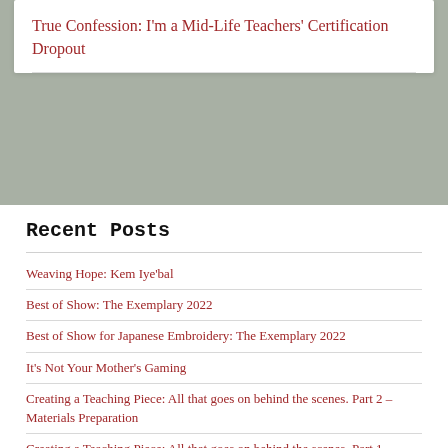True Confession: I'm a Mid-Life Teachers' Certification Dropout
Recent Posts
Weaving Hope: Kem Iye'bal
Best of Show: The Exemplary 2022
Best of Show for Japanese Embroidery: The Exemplary 2022
It's Not Your Mother's Gaming
Creating a Teaching Piece: All that goes on behind the scenes. Part 2 – Materials Preparation
Creating a Teaching Piece: All that goes on behind the scenes. Part 1 – Planning